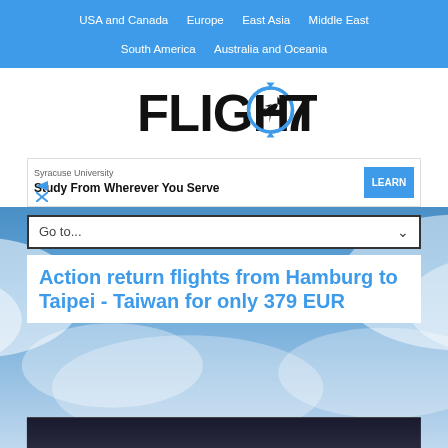USA and Canada   Europe   East Asia   Middle East   South America   Australia and Oceania
[Figure (logo): Flights07 logo with airplane icon in circular arrow design]
[Figure (infographic): Advertisement banner: Syracuse University - Study From Wherever You Serve - LEARN button]
Go to...
Action return flights from Hamburg to Taipei - Taiwan for only 379 EUR